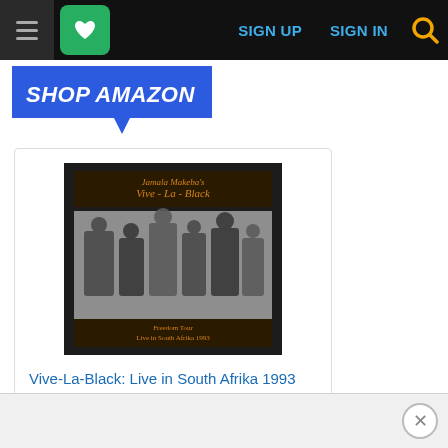[Figure (screenshot): Website navigation bar with hamburger menu icon, green heart button, SIGN UP and SIGN IN links in blue, and yellow search icon, all on black background]
[Figure (other): Shop Amazon blue speech-bubble button with white italic bold text]
[Figure (other): Amazon product card showing album 'Vive-La-Black: Live in South Afrika 1993' with black and white cover photo, price $19.70, and 5-star rating with 2 reviews]
Vive-La-Black: Live in South Afrika 1993
$19.70
(2)
Jason Yarde
Go
Ads by Amazon